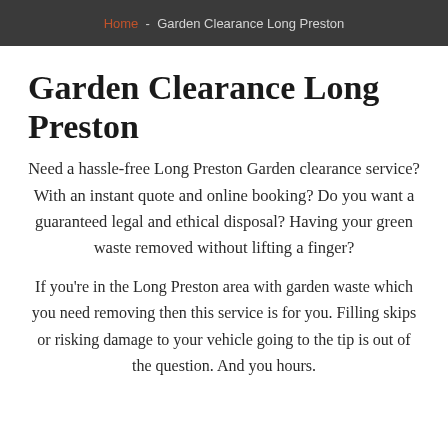Home - Garden Clearance Long Preston
Garden Clearance Long Preston
Need a hassle-free Long Preston Garden clearance service? With an instant quote and online booking? Do you want a guaranteed legal and ethical disposal? Having your green waste removed without lifting a finger?
If you're in the Long Preston area with garden waste which you need removing then this service is for you. Filling skips or risking damage to your vehicle going to the tip is out of the question. And you hours.